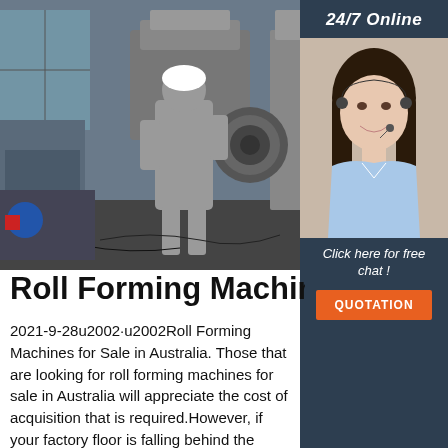[Figure (photo): Factory worker in grey coveralls and white hard hat operating heavy roll forming machinery in an industrial facility.]
[Figure (photo): 24/7 Online customer service representative - smiling woman with headset, with 'Click here for free chat!' text and QUOTATION button overlay on dark blue sidebar.]
Roll Forming Machines For...
2021-9-28u2002·u2002Roll Forming Machines for Sale in Australia. Those that are looking for roll forming machines for sale in Australia will appreciate the cost of acquisition that is required.However, if your factory floor is falling behind the production standards achieved by your